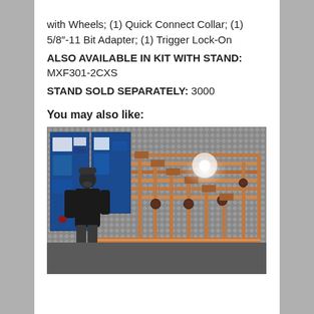with Wheels; (1) Quick Connect Collar; (1) 5/8"-11 Bit Adapter; (1) Trigger Lock-On
ALSO AVAILABLE IN KIT WITH STAND: MXF301-2CXS
STAND SOLD SEPARATELY: 3000
You may also like:
[Figure (photo): A person standing in front of an industrial plumbing/HVAC installation with copper piping, manifolds, and blue equipment panels mounted on a diamond-plate wall.]